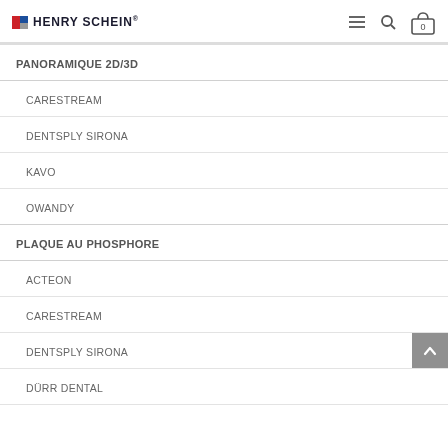Henry Schein
PANORAMIQUE 2D/3D
CARESTREAM
DENTSPLY SIRONA
KAVO
OWANDY
PLAQUE AU PHOSPHORE
ACTEON
CARESTREAM
DENTSPLY SIRONA
DÜRR DENTAL